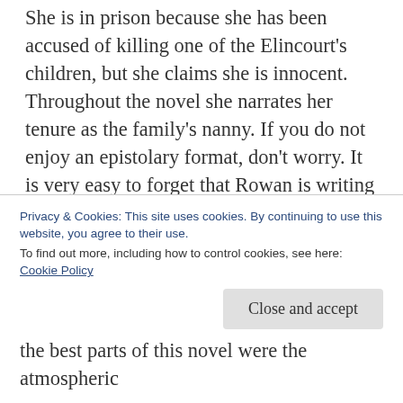She is in prison because she has been accused of killing one of the Elincourt's children, but she claims she is innocent. Throughout the novel she narrates her tenure as the family's nanny. If you do not enjoy an epistolary format, don't worry. It is very easy to forget that Rowan is writing the story for someone else. She only addresses the lawyer by name a few times in the beginning and a handful of times throughout the rest of book.
I love a good haunted house story, and not only does Heatherbrae House have a mysterious history but it being a smart house makes for even more
Privacy & Cookies: This site uses cookies. By continuing to use this website, you agree to their use.
To find out more, including how to control cookies, see here: Cookie Policy
the best parts of this novel were the atmospheric